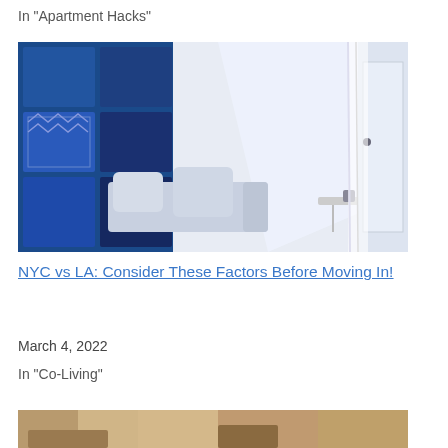In "Apartment Hacks"
[Figure (photo): Interior of a modern apartment with blue decorative wall panels, a sofa with light blue cushions, a floor lamp, and a glass door with natural light coming in.]
NYC vs LA: Consider These Factors Before Moving In!
March 4, 2022
In "Co-Living"
[Figure (photo): Partial view of another apartment interior at the bottom of the page.]